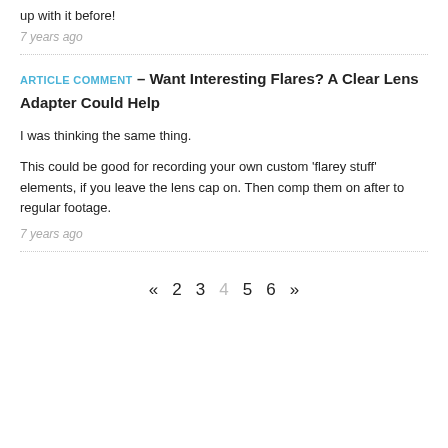up with it before!
7 years ago
ARTICLE COMMENT – Want Interesting Flares? A Clear Lens Adapter Could Help
I was thinking the same thing.
This could be good for recording your own custom 'flarey stuff' elements, if you leave the lens cap on. Then comp them on after to regular footage.
7 years ago
« 2 3 4 5 6 »